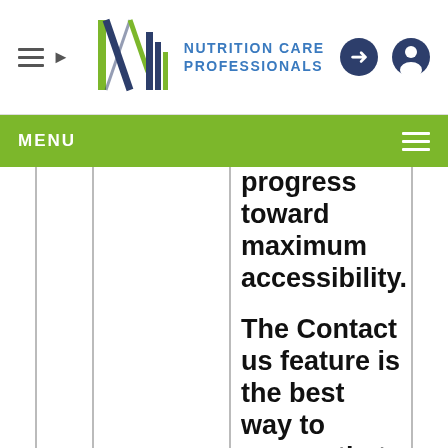[Figure (logo): Nutrition Care Professionals logo with stylized N graphic and text]
MENU
progress toward maximum accessibility. The Contact us feature is the best way to ensure that everyone on our team receives the request and can respond